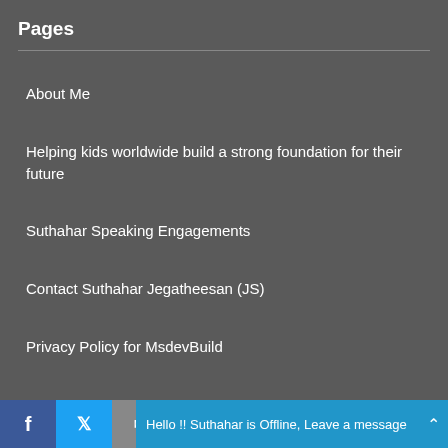Pages
About Me
Helping kids worldwide build a strong foundation for their future
Suthahar Speaking Engagements
Contact Suthahar Jegatheesan (JS)
Privacy Policy for MsdevBuild
Hello !! Suthahar is Offline, Leave a message